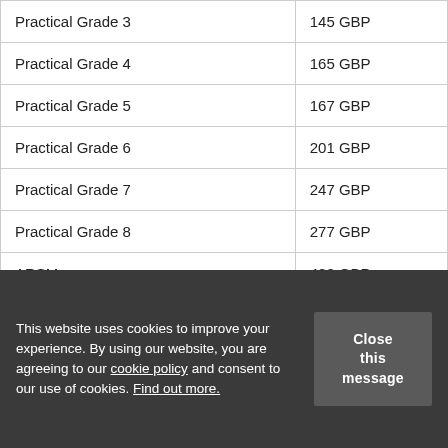| Practical Grade 3 | 145 GBP |
| Practical Grade 4 | 165 GBP |
| Practical Grade 5 | 167 GBP |
| Practical Grade 6 | 201 GBP |
| Practical Grade 7 | 247 GBP |
| Practical Grade 8 | 277 GBP |
| ARSM | 422 GBP |
| Performance Assessment | 167 GBP |
This website uses cookies to improve your experience. By using our website, you are agreeing to our cookie policy and consent to our use of cookies. Find out more.